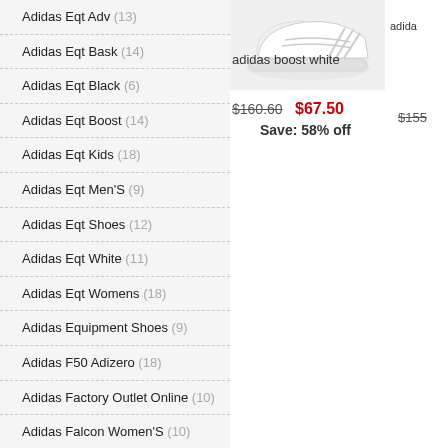Adidas Eqt Adv (13)
Adidas Eqt Bask (14)
Adidas Eqt Black (6)
Adidas Eqt Boost (14)
Adidas Eqt Kids (18)
Adidas Eqt Men'S (9)
Adidas Eqt Shoes (12)
Adidas Eqt White (11)
Adidas Eqt Womens (18)
Adidas Equipment Shoes (9)
Adidas F50 Adizero (18)
Adidas Factory Outlet Online (10)
Adidas Falcon Women'S (10)
Adidas Floral (3)
Adidas Floral Shoes (10)
Adidas Flower Shoes (20)
[Figure (photo): White Adidas boost sneaker on white background]
adidas boost white
$160.60  $67.50
Save: 58% off
adida
$155